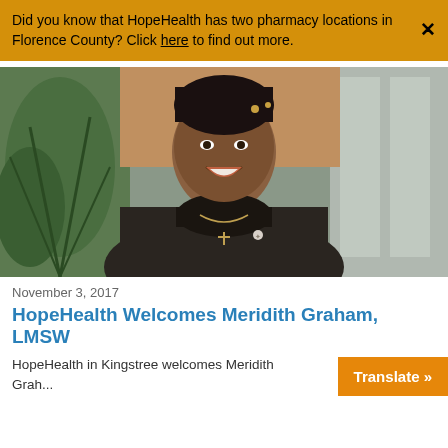Did you know that HopeHealth has two pharmacy locations in Florence County? Click here to find out more.
[Figure (photo): Professional headshot of Meridith Graham, LMSW, a woman smiling wearing a black turtleneck and dark blazer with a cross necklace, standing in front of green plants and windows.]
November 3, 2017
HopeHealth Welcomes Meridith Graham, LMSW
HopeHealth in Kingstree welcomes Meridith Graham...